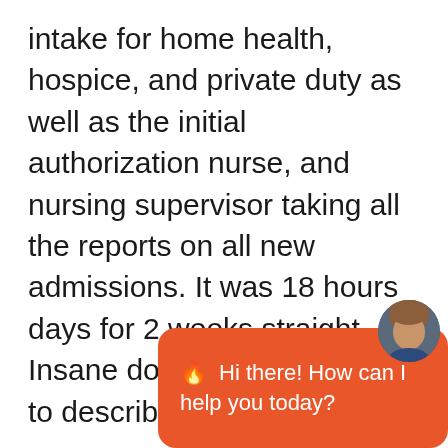intake for home health, hospice, and private duty as well as the initial authorization nurse, and nursing supervisor taking all the reports on all new admissions. It was 18 hours days for 2 weeks straight. Insane does not come close to describing these 2 weeks.
Next, my consulting business, Home Care Sales, had to completely change the way we do business. We had to deal with all our cli[ents] hey what do I d[o] cannot get in to do sales calls or pick-up
[Figure (other): Chat widget overlay with orange rounded bubble saying 'Hi there! How can I help you today?' with a flame emoji, and a circular avatar photo of a woman in upper right corner]